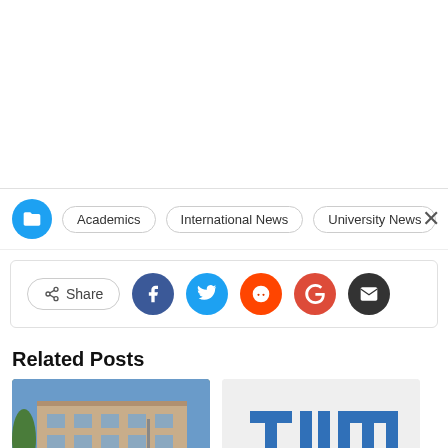Academics | International News | University News
[Figure (screenshot): Share bar with social media icons: Facebook, Twitter, Reddit, Google+, Email]
Related Posts
[Figure (photo): Photo of University of Göttingen building exterior]
University of Göttingen: New clues about land
[Figure (logo): TUM (Technical University of Munich) logo on grey background]
Technical University of Munich: First global